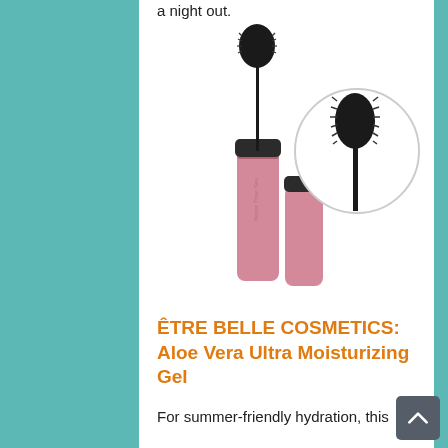a night out.
[Figure (photo): Pink mascara tube and wand product shot with a circular close-up inset of the brush head on white background]
ÊTRE BELLE COSMETICS: Aloe Vera Ultra Moisturizing Gel
For summer-friendly hydration, this